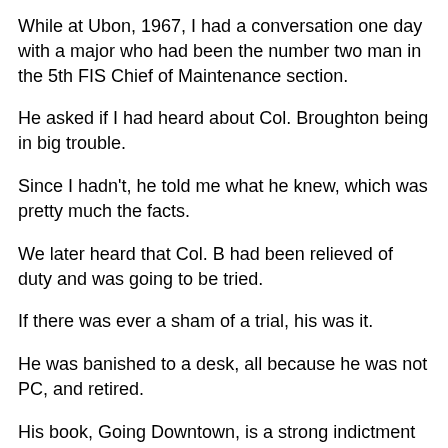While at Ubon, 1967, I had a conversation one day with a major who had been the number two man in the 5th FIS Chief of Maintenance section.
He asked if I had heard about Col. Broughton being in big trouble.
Since I hadn't, he told me what he knew, which was pretty much the facts.
We later heard that Col. B had been relieved of duty and was going to be tried.
If there was ever a sham of a trial, his was it.
He was banished to a desk, all because he was not PC, and retired.
His book, Going Downtown, is a strong indictment of the "leadership" of our nation and the Military